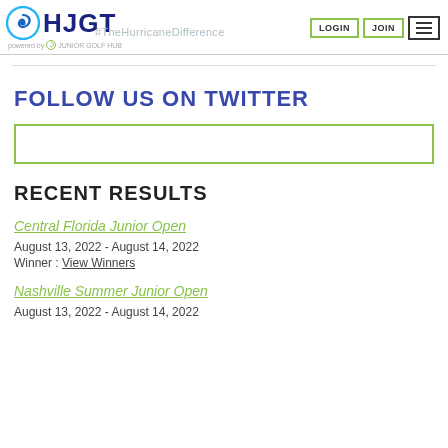HJGT powered by Junior Golf Hub LOGIN JOIN ☰ #TheHurricaneDifference
FOLLOW US ON TWITTER
[Figure (other): Empty green-bordered Twitter embed box]
RECENT RESULTS
Central Florida Junior Open
August 13, 2022 - August 14, 2022
Winner : View Winners
Nashville Summer Junior Open
August 13, 2022 - August 14, 2022